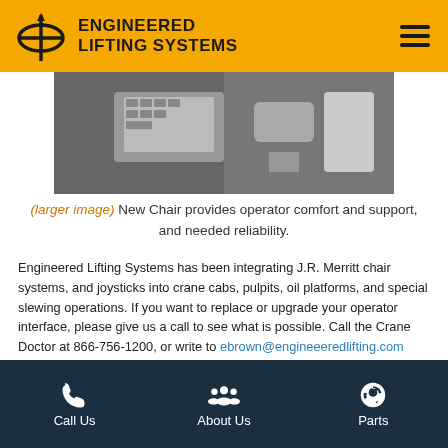ENGINEERED LIFTING SYSTEMS
[Figure (photo): Close-up photo of operator chair and joystick controls in a crane cab]
(larger image) New Chair provides operator comfort and support, and needed reliability.
Engineered Lifting Systems has been integrating J.R. Merritt chair systems, and joysticks into crane cabs, pulpits, oil platforms, and special slewing operations. If you want to replace or upgrade your operator interface, please give us a call to see what is possible. Call the Crane Doctor at 866-756-1200, or write to ebrown@engineeeredlifting.com
Regards,
Eric Brown
Call Us | About Us | Parts